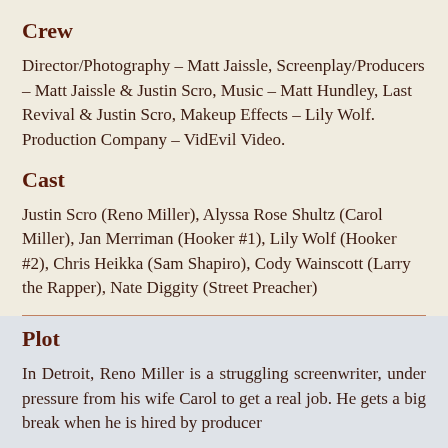Crew
Director/Photography – Matt Jaissle, Screenplay/Producers – Matt Jaissle & Justin Scro, Music – Matt Hundley, Last Revival & Justin Scro, Makeup Effects – Lily Wolf. Production Company – VidEvil Video.
Cast
Justin Scro (Reno Miller), Alyssa Rose Shultz (Carol Miller), Jan Merriman (Hooker #1), Lily Wolf (Hooker #2), Chris Heikka (Sam Shapiro), Cody Wainscott (Larry the Rapper), Nate Diggity (Street Preacher)
Plot
In Detroit, Reno Miller is a struggling screenwriter, under pressure from his wife Carol to get a real job. He gets a big break when he is hired by producer